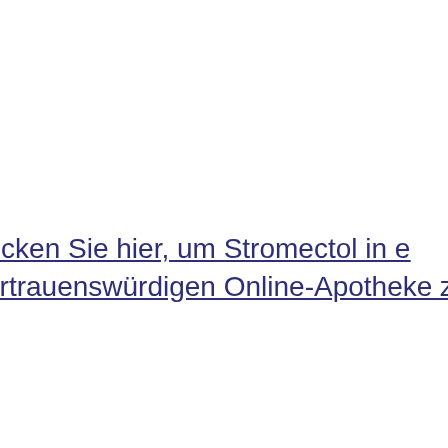Klicken Sie hier, um Stromectol in einer vertrauenswürdigen Online-Apotheke zu